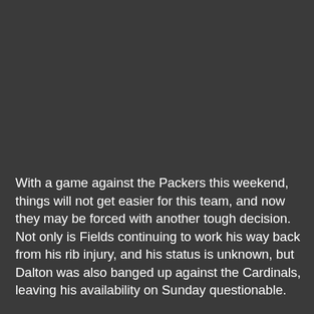With a game against the Packers this weekend, things will not get easier for this team, and now they may be forced with another tough decision. Not only is Fields continuing to work his way back from his rib injury, and his status is unknown, but Dalton was also banged up against the Cardinals, leaving his availability on Sunday questionable.

His injury doesn't seem too serious, and I expect him to play if healthy, but that hasn't stopped the Bears from